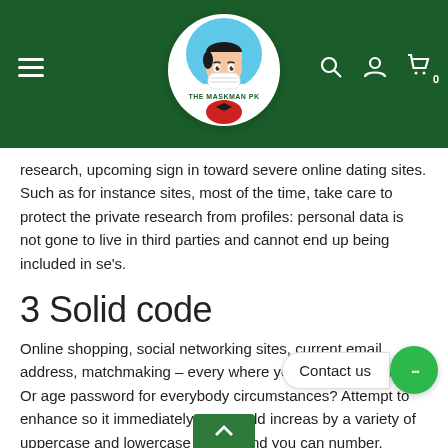[Figure (logo): The Maskman PK logo — circular badge with cartoon character wearing a white face mask, blue background, white banner with site name]
research, upcoming sign in toward severe online dating sites. Such as for instance sites, most of the time, take care to protect the private research from profiles: personal data is not gone to live in third parties and cannot end up being included in se's.
3 Solid code
Online shopping, social networking sites, current email address, matchmaking – every where you want a password. Or age password for everybody circumstances? Attempt to enhance so it immediately. You could increas by a variety of uppercase and lowercase emails and you can number.